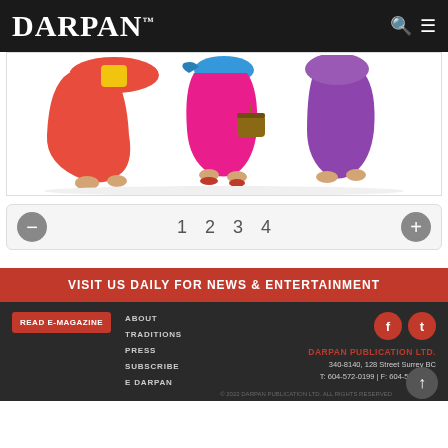DARPAN™
[Figure (illustration): Lower halves of three dancers in colorful traditional Indian salwar outfits — red, pink, and purple — with one holding a wicker basket, set against a white background.]
1  2  3  4
VISIT US DAILY FOR NEWS & ENTERTAINMENT
READ E-MAGAZINE
ABOUT
TRADITIONS
PRESS
SUBSCRIBE
E DARPAN
DARPAN PUBLICATION LTD.
340-8140, 128 Street Surrey BC
T: 604-572-0199 | F: 604-572-0199
© 2022 DARPAN PUBLICATION LTD. ALL RIGHTS RESERVED